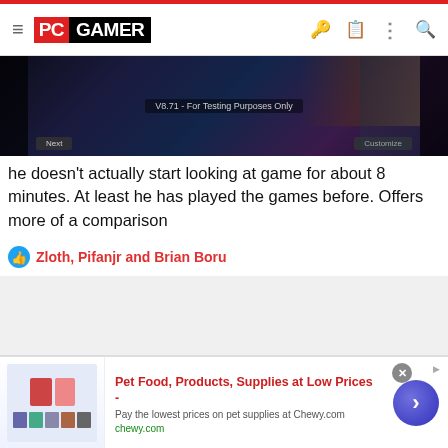PC GAMER
[Figure (screenshot): Game screenshot/video thumbnail with dark background and overlay text 'V8.71 - For Testing Purposes Only']
he doesn't actually start looking at game for about 8 minutes. At least he has played the games before. Offers more of a comparison
Zloth, Pifanjr and Brian Boru
[Figure (photo): Best Buy advertisement: Save up to $300, showing laptop with Gestural Robotics application]
[Figure (infographic): Chewy.com advertisement overlay: Pet Food, Products, Supplies at Low Prices - Pay the lowest prices on pet supplies at Chewy.com]